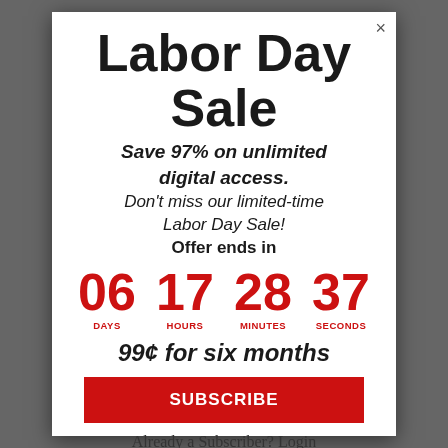Labor Day Sale
Save 97% on unlimited digital access. Don't miss our limited-time Labor Day Sale! Offer ends in
06 DAYS  17 HOURS  28 MINUTES  37 SECONDS
99¢ for six months
SUBSCRIBE
Already a Subscriber? Login